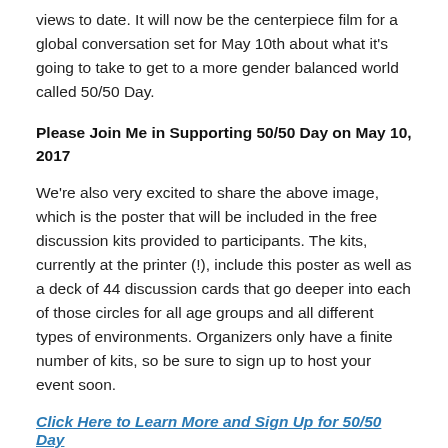views to date. It will now be the centerpiece film for a global conversation set for May 10th about what it’s going to take to get to a more gender balanced world called 50/50 Day.
Please Join Me in Supporting 50/50 Day on May 10, 2017
We’re also very excited to share the above image, which is the poster that will be included in the free discussion kits provided to participants. The kits, currently at the printer (!), include this poster as well as a deck of 44 discussion cards that go deeper into each of those circles for all age groups and all different types of environments. Organizers only have a finite number of kits, so be sure to sign up to host your event soon.
Click Here to Learn More and Sign Up for 50/50 Day
And if you just can't wait to until May 10th to see the full movie, then here it is below, just for you: